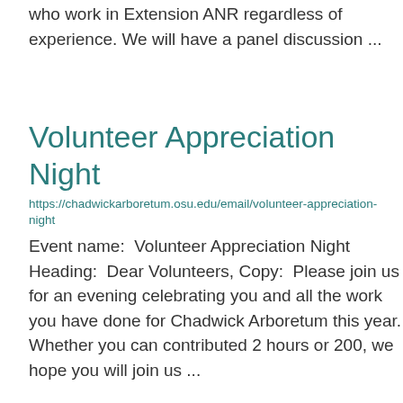who work in Extension ANR regardless of experience. We will have a panel discussion ...
Volunteer Appreciation Night
https://chadwickarboretum.osu.edu/email/volunteer-appreciation-night
Event name:  Volunteer Appreciation Night Heading:  Dear Volunteers, Copy:  Please join us for an evening celebrating you and all the work you have done for Chadwick Arboretum this year. Whether you can contributed 2 hours or 200, we hope you will join us ...